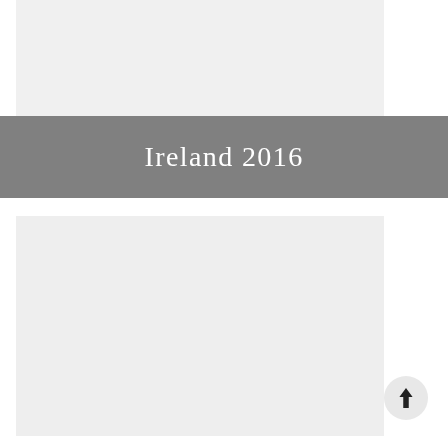[Figure (photo): Top image area placeholder, light gray background]
Ireland 2016
[Figure (photo): Bottom image area placeholder, light gray background]